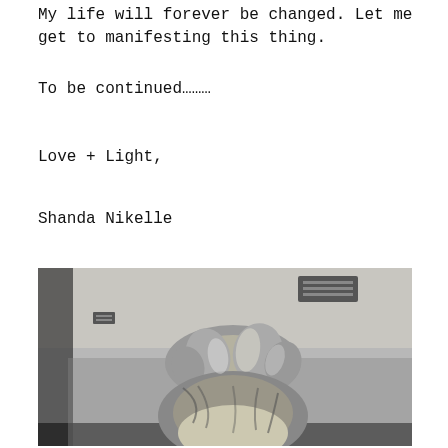My life will forever be changed. Let me get to manifesting this thing.
To be continued………
Love + Light,
Shanda Nikelle
[Figure (photo): Black and white selfie photo showing the top of a person's head with locs/dreads pulled up into a bun with a black hair tie, taken from above in a room with a ceiling vent visible in the background.]